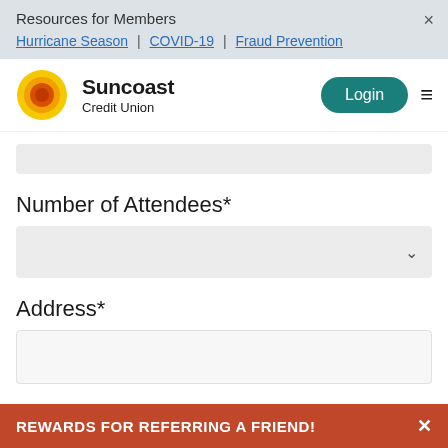Resources for Members
Hurricane Season | COVID-19 | Fraud Prevention
[Figure (logo): Suncoast Credit Union logo with sun graphic]
Login button and hamburger menu
Number of Attendees*
Address*
City*
REWARDS FOR REFERRING A FRIEND!